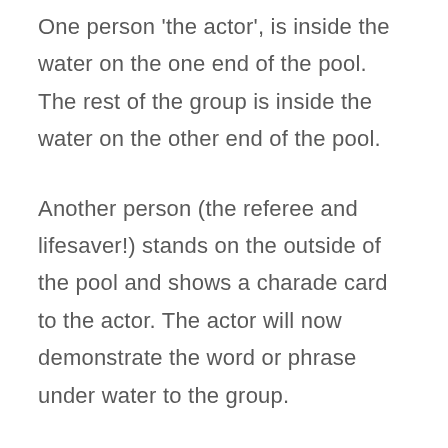One person 'the actor', is inside the water on the one end of the pool. The rest of the group is inside the water on the other end of the pool.
Another person (the referee and lifesaver!) stands on the outside of the pool and shows a charade card to the actor. The actor will now demonstrate the word or phrase under water to the group.
On the word GO from the referee; two things happen simultaneously: